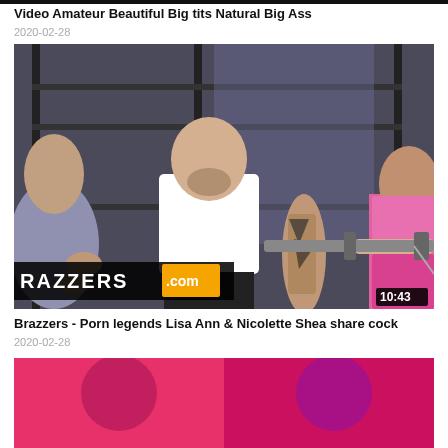Video Amateur Beautiful Big tits Natural Big Ass
2020-02-28
[Figure (photo): Video thumbnail showing a gym scene with a bearded man in a white t-shirt being pulled by two women, with Brazzers .com logo overlay and duration 10:43]
10:43
Brazzers - Porn legends Lisa Ann & Nicolette Shea share cock
2020-02-28
[Figure (photo): Partial video thumbnail showing colorful background with pink and magenta tones]